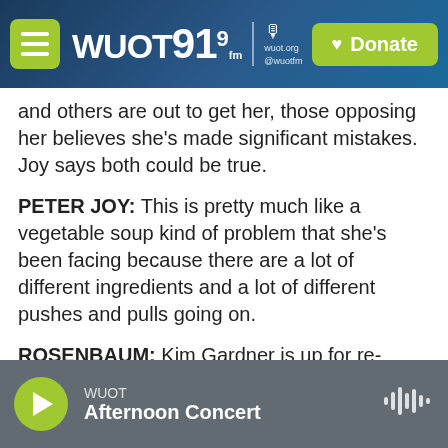WUOT 91.9 FM | Donate
and others are out to get her, those opposing her believes she's made significant mistakes. Joy says both could be true.
PETER JOY: This is pretty much like a vegetable soup kind of problem that she's been facing because there are a lot of different ingredients and a lot of different pushes and pulls going on.
ROSENBAUM: Kim Gardner is up for re-election later this year. Lawsuit aside, it could be city voters that get the final say about her agenda and performance.
WUOT Afternoon Concert